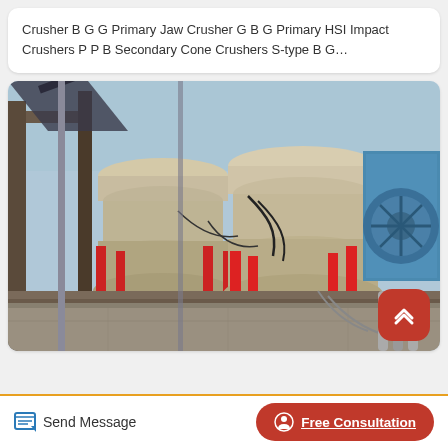Crusher B G G Primary Jaw Crusher G B G Primary HSI Impact Crushers P P B Secondary Cone Crushers S-type B G...
[Figure (photo): Industrial cone crushers and HSI impact crushers installed outdoors at a quarry or mining facility. Large cream/beige cylindrical crushing machines visible with red hydraulic cylinders. A blue rectangular industrial unit visible on the right side. Steel framework, walkways, and piping in background.]
Send Message
Free Consultation